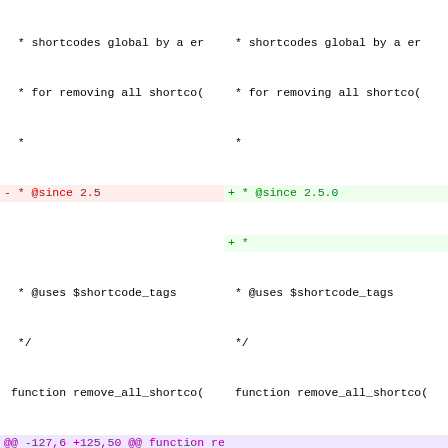[Figure (screenshot): Side-by-side diff view of PHP code showing changes to shortcode functions. Left column shows removed lines (red background), right column shows added lines (green background). A hunk header in purple shows @@ -127,6 +125,50 @@ function remove_all_shortcodes(). The right side adds a new function shortcode_exists() and begins a new docblock.]